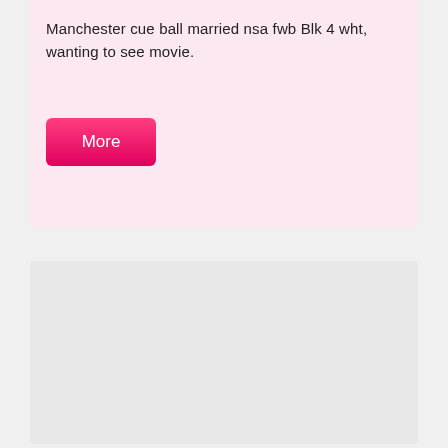Manchester cue ball married nsa fwb Blk 4 wht, wanting to see movie.
[Figure (other): Pink 'More' button element]
[Figure (other): Light gray empty card/content block]